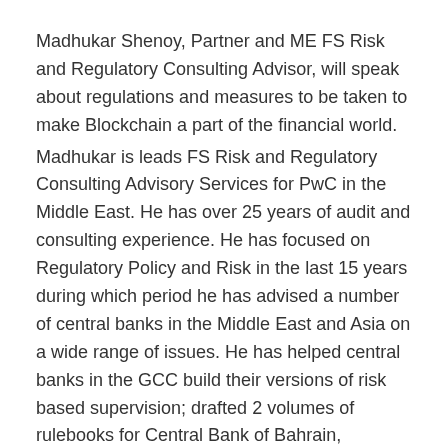Madhukar Shenoy, Partner and ME FS Risk and Regulatory Consulting Advisor, will speak about regulations and measures to be taken to make Blockchain a part of the financial world.
Madhukar is leads FS Risk and Regulatory Consulting Advisory Services for PwC in the Middle East. He has over 25 years of audit and consulting experience. He has focused on Regulatory Policy and Risk in the last 15 years during which period he has advised a number of central banks in the Middle East and Asia on a wide range of issues. He has helped central banks in the GCC build their versions of risk based supervision; drafted 2 volumes of rulebooks for Central Bank of Bahrain, assisted on policy for Islamic real estate for a prominent Asian regulator, and more recently advised on Fintech related regulatory policy for central banks.